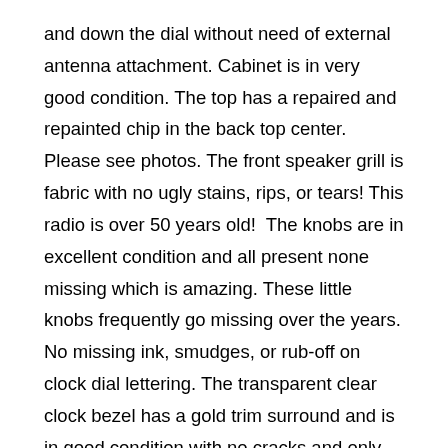and down the dial without need of external antenna attachment. Cabinet is in very good condition. The top has a repaired and repainted chip in the back top center. Please see photos. The front speaker grill is fabric with no ugly stains, rips, or tears! This radio is over 50 years old!  The knobs are in excellent condition and all present none missing which is amazing. These little knobs frequently go missing over the years. No missing ink, smudges, or rub-off on clock dial lettering. The transparent clear clock bezel has a gold trim surround and is in good condition with no cracks and only slight yellowing and milky oxidation. The tuning dial works fine and smooth no slipping. Tuning knob is not original. All paper and wax capacitors have been replaced with modern equivalents so this radio has another 50+ years or more of playing time! The clock works and keep accurate time for a mechanical analog design. The alarm works. The buzzer works. The clock and alarm set function work. The tubes are working fine. All out-of-spec resistors have been replaced with modern correct value and voltage equivalents. The chassis has been thoroughly cleaned. The chassis has been